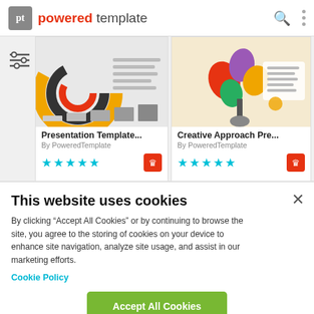powered template
[Figure (screenshot): Two presentation template cards with thumbnails, star ratings, and premium badges, plus a partial view of two more cards below]
This website uses cookies
By clicking “Accept All Cookies” or by continuing to browse the site, you agree to the storing of cookies on your device to enhance site navigation, analyze site usage, and assist in our marketing efforts.
Cookie Policy
Accept All Cookies